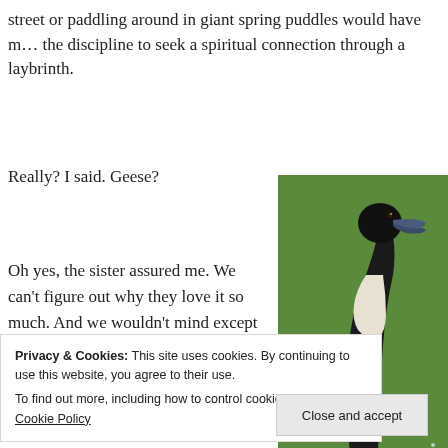street or paddling around in giant spring puddles would have m… the discipline to seek a spiritual connection through a laybrinth.
Really? I said. Geese?
[Figure (photo): Close-up photo of a Canada goose with black head and neck, white chin patch, standing on green grass with small white flowers.]
Oh yes, the sister assured me. We can't figure out why they love it so much. And we wouldn't mind except that they leave it such a mess.
Privacy & Cookies: This site uses cookies. By continuing to use this website, you agree to their use.
To find out more, including how to control cookies, see here: Cookie Policy
Close and accept